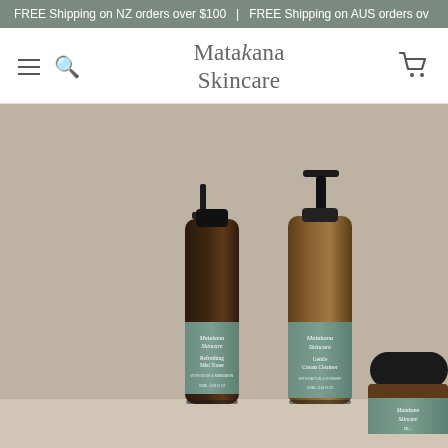FREE Shipping on NZ orders over $100  |  FREE Shipping on AUS orders ov
Matakana Skincare
[Figure (photo): Three Matakana Skincare amber glass bottles on a beige background: a spray bottle labeled 'Refreshing Mist Toner', a pump bottle labeled 'Gentle Cream Cleanser', and a small jar with black lid labeled 'Matakana Skincare', with sage-green labels.]